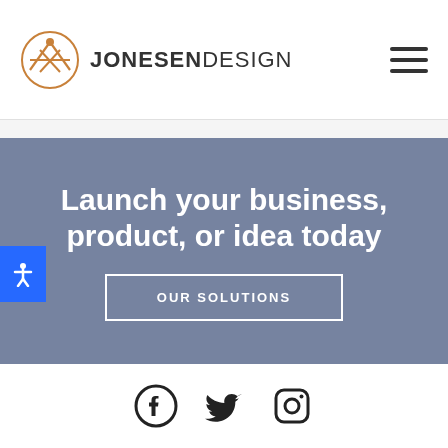[Figure (logo): Jonesen Design logo: circular amber/copper logo mark with stylized figure, next to text JONESEN DESIGN in bold sans-serif]
Launch your business, product, or idea today
OUR SOLUTIONS
[Figure (infographic): Social media icons: Facebook, Twitter, Instagram in dark/black]